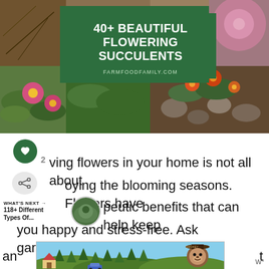[Figure (photo): Collage of flowering succulents — top-left shows brown soil/dry twigs, center has a dark green overlay with title text, top-right shows a blurred pink flower, bottom-left shows pink ice plant flowers among succulents, bottom-right shows orange and yellow succulent blossoms near rocks.]
40+ BEAUTIFUL FLOWERING SUCCULENTS
FARMFOODFAMILY.COM
ving flowers in your home is not all about
oying the blooming seasons. Flowers have
WHAT'S NEXT → 118+ Different Types Of...
peutic benefits that can help keep you happy and stress-free. Ask gardeners,
[Figure (illustration): Smokey Bear advertisement banner — illustrated forest scene with green trees, a house, hills, blue car, and Smokey Bear character wearing hat on the right side]
an